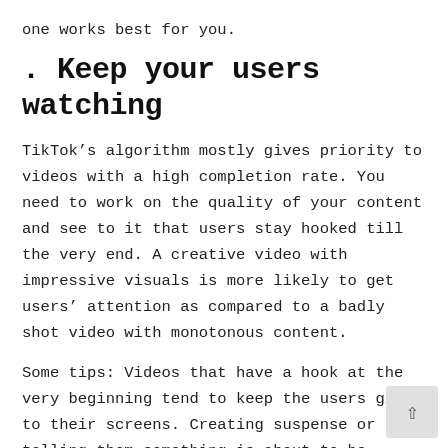one works best for you.
. Keep your users watching
TikTok’s algorithm mostly gives priority to videos with a high completion rate. You need to work on the quality of your content and see to it that users stay hooked till the very end. A creative video with impressive visuals is more likely to get users’ attention as compared to a badly shot video with monotonous content.
Some tips: Videos that have a hook at the very beginning tend to keep the users glued to their screens. Creating suspense or telling them something is about to be revealed will make want to see more. An example of a video that keeps the users